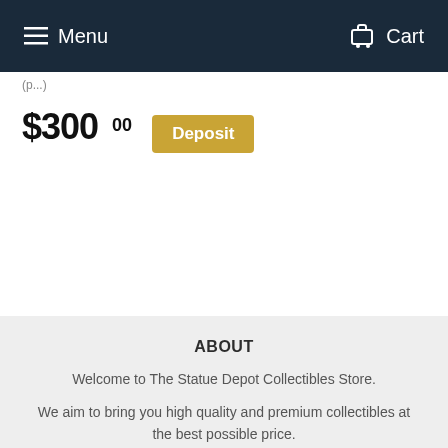Menu   Cart
(truncated text)
$300.00  Deposit
ABOUT
Welcome to The Statue Depot Collectibles Store.
We aim to bring you high quality and premium collectibles at the best possible price.
NEWSLETTER
Sign up for our newsletter to receive promotions, new